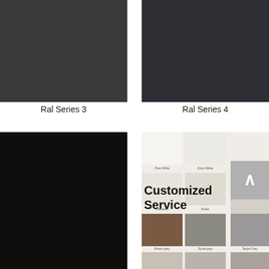[Figure (illustration): Dark charcoal grey color swatch for Ral Series 3]
[Figure (illustration): Dark navy-grey color swatch for Ral Series 4]
Ral Series 3
Ral Series 4
[Figure (illustration): Near-black color swatch]
[Figure (illustration): Customized Service panel showing a grid of color swatches (Pure White, Extra White, Alabaster, Butter, String, Brown grey, Stone grey, Taupe Grey) with bold text 'Customized Service' overlaid and a logo mark in upper right]